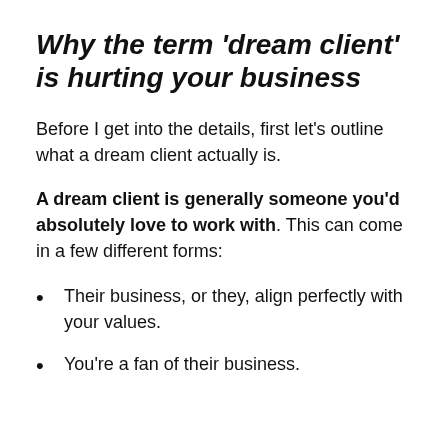Why the term 'dream client' is hurting your business
Before I get into the details, first let’s outline what a dream client actually is.
A dream client is generally someone you’d absolutely love to work with. This can come in a few different forms:
Their business, or they, align perfectly with your values.
You’re a fan of their business.